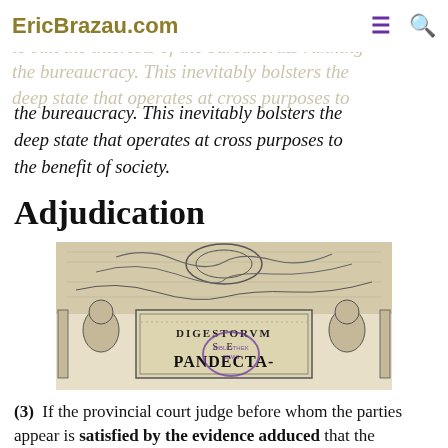EricBrazau.com
Bureaucracies tend to grow and amass power to suit the interests of the bureaucrats running the bureaucracy. This inevitably bolsters the deep state that operates at cross purposes to the benefit of society.
Adjudication
[Figure (illustration): Historical frontispiece engraving showing ornate decorative border with figures, titled 'DIGESTORUM' and 'PANDECTA' with a purple library stamp overlay.]
(3)  If the provincial court judge before whom the parties appear is satisfied by the evidence adduced that the informant has reasonable grounds for the fear, the judge may order that